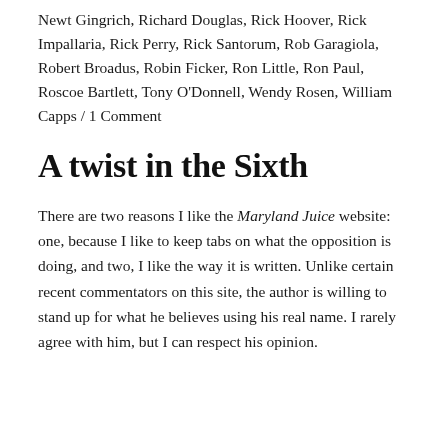Newt Gingrich, Richard Douglas, Rick Hoover, Rick Impallaria, Rick Perry, Rick Santorum, Rob Garagiola, Robert Broadus, Robin Ficker, Ron Little, Ron Paul, Roscoe Bartlett, Tony O'Donnell, Wendy Rosen, William Capps / 1 Comment
A twist in the Sixth
There are two reasons I like the Maryland Juice website: one, because I like to keep tabs on what the opposition is doing, and two, I like the way it is written. Unlike certain recent commentators on this site, the author is willing to stand up for what he believes using his real name. I rarely agree with him, but I can respect his opinion.